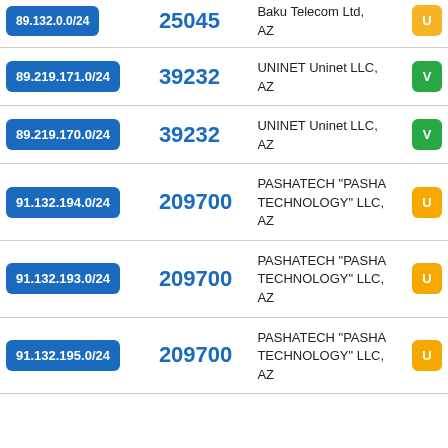| IP Range | ASN | Organization | Status |
| --- | --- | --- | --- |
| 89.132.0.0/24 (partial) | 25045 (partial) | Baku Telecom Ltd, AZ | U |
| 89.219.171.0/24 | 39232 | UNINET Uninet LLC, AZ | V |
| 89.219.170.0/24 | 39232 | UNINET Uninet LLC, AZ | V |
| 91.132.194.0/24 | 209700 | PASHATECH "PASHA TECHNOLOGY" LLC, AZ | U |
| 91.132.193.0/24 | 209700 | PASHATECH "PASHA TECHNOLOGY" LLC, AZ | U |
| 91.132.195.0/24 | 209700 | PASHATECH "PASHA TECHNOLOGY" LLC, AZ | U |